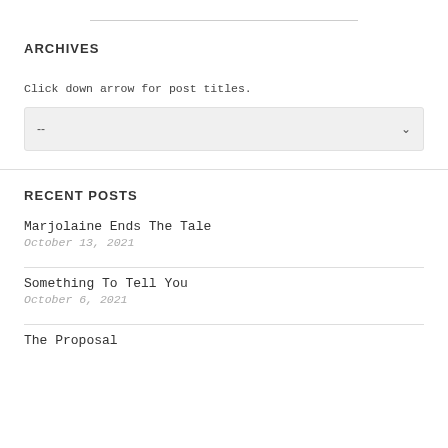ARCHIVES
Click down arrow for post titles.
RECENT POSTS
Marjolaine Ends The Tale
October 13, 2021
Something To Tell You
October 6, 2021
The Proposal